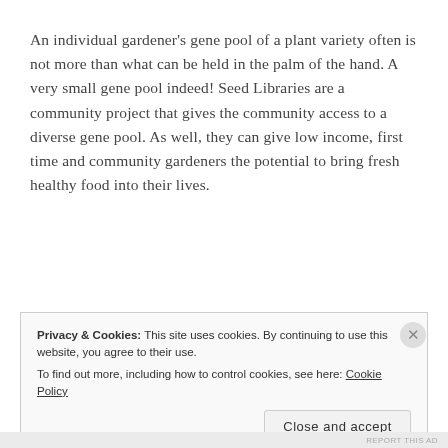An individual gardener's gene pool of a plant variety often is not more than what can be held in the palm of the hand. A very small gene pool indeed! Seed Libraries are a community project that gives the community access to a diverse gene pool. As well, they can give low income, first time and community gardeners the potential to bring fresh healthy food into their lives.
Privacy & Cookies: This site uses cookies. By continuing to use this website, you agree to their use. To find out more, including how to control cookies, see here: Cookie Policy